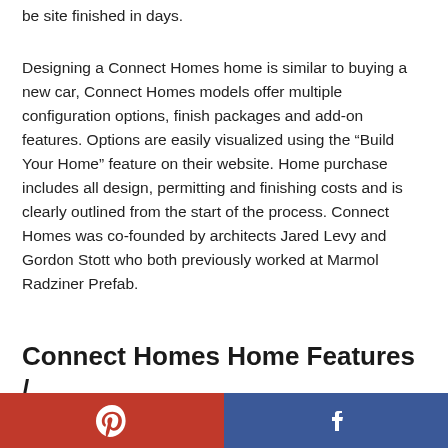be site finished in days.
Designing a Connect Homes home is similar to buying a new car, Connect Homes models offer multiple configuration options, finish packages and add-on features. Options are easily visualized using the “Build Your Home” feature on their website. Home purchase includes all design, permitting and finishing costs and is clearly outlined from the start of the process. Connect Homes was co-founded by architects Jared Levy and Gordon Stott who both previously worked at Marmol Radziner Prefab.
Connect Homes Home Features / Design Focus
[Figure (infographic): Social sharing bar with Pinterest (red background, P icon) and Facebook (blue background, f icon) buttons side by side spanning the full width]